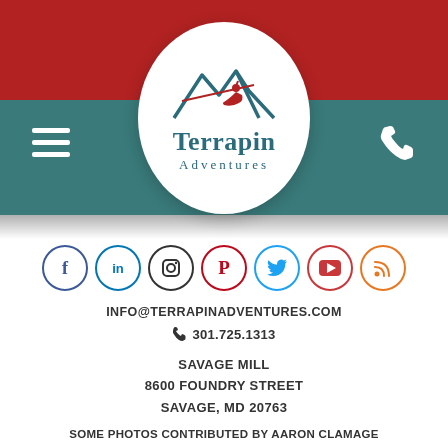[Figure (logo): Terrapin Adventures logo: circular white badge with teal mountain peaks, red zipline figure, text 'Terrapin Adventures' in teal serif font. Set on red and teal header bar with hamburger menu icon on left and phone icon on right.]
[Figure (infographic): Row of 7 social media icon circles: Facebook (blue), LinkedIn (blue), Instagram (black), Pinterest (red), Twitter (light blue), YouTube (red/teal), RSS (orange)]
INFO@TERRAPINADVENTURES.COM
301.725.1313
SAVAGE MILL
8600 FOUNDRY STREET
SAVAGE, MD 20763
SOME PHOTOS CONTRIBUTED BY AARON CLAMAGE